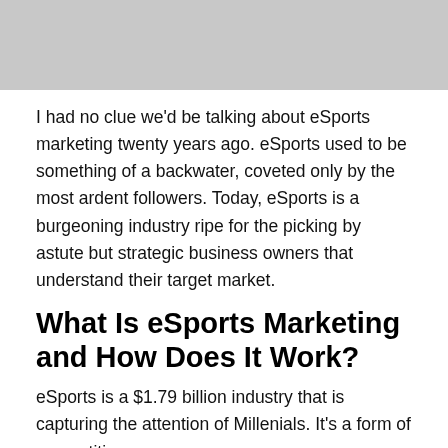[Figure (photo): Partial image visible at top of page, gray tones, cropped]
I had no clue we'd be talking about eSports marketing twenty years ago. eSports used to be something of a backwater, coveted only by the most ardent followers. Today, eSports is a burgeoning industry ripe for the picking by astute but strategic business owners that understand their target market.
What Is eSports Marketing and How Does It Work?
eSports is a $1.79 billion industry that is capturing the attention of Millenials. It's a form of competitive